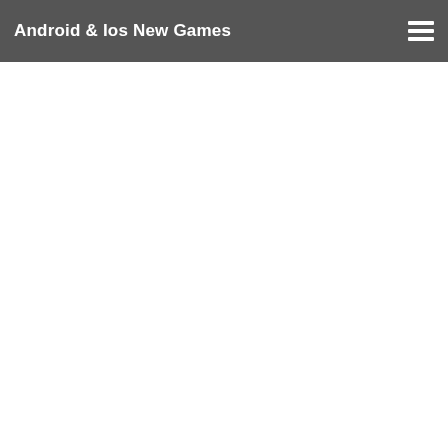Android & Ios New Games
development. Immersive objectives and exciting combat through ... world exploration
In Tower of Fantasy, dwindling resources and a lack of energy have